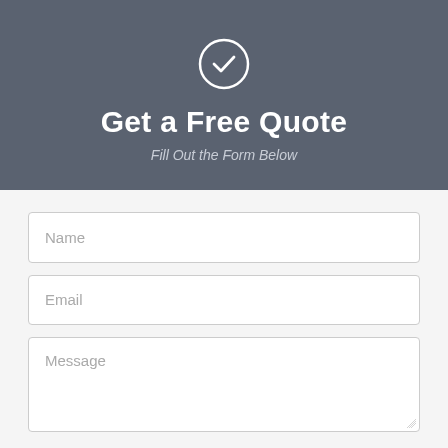[Figure (illustration): White circle with a checkmark icon on grey background]
Get a Free Quote
Fill Out the Form Below
Name
Email
Message